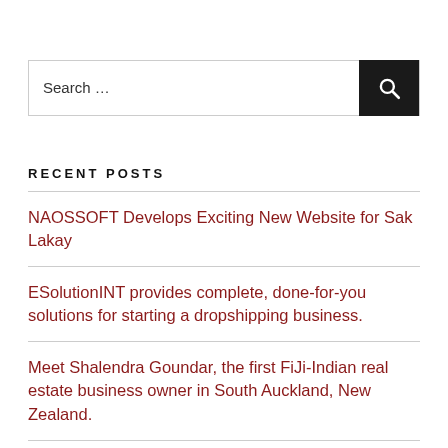[Figure (other): Search bar with text input field labeled 'Search ...' and a black button with a magnifying glass icon]
RECENT POSTS
NAOSSOFT Develops Exciting New Website for Sak Lakay
ESolutionINT provides complete, done-for-you solutions for starting a dropshipping business.
Meet Shalendra Goundar, the first FiJi-Indian real estate business owner in South Auckland, New Zealand.
Techexpertsweb Announces the Introduction of Their